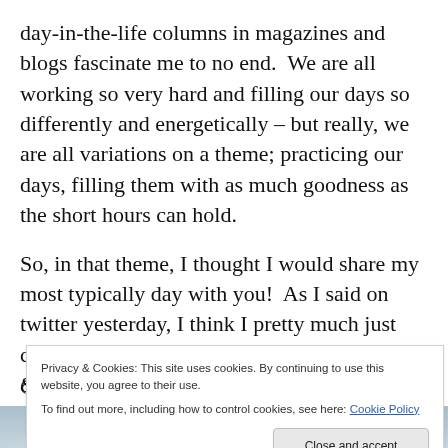day-in-the-life columns in magazines and blogs fascinate me to no end.  We are all working so very hard and filling our days so differently and energetically – but really, we are all variations on a theme; practicing our days, filling them with as much goodness as the short hours can hold.
So, in that theme, I thought I would share my most typically day with you!  As I said on twitter yesterday, I think I pretty much just come across as a crazy lady who has cute kids & paints. You'll see.  ; )
Continue reading: Day-in-the-life...
Privacy & Cookies: This site uses cookies. By continuing to use this website, you agree to their use.
To find out more, including how to control cookies, see here: Cookie Policy
[Figure (photo): Partial photo strip at the bottom of the page showing a person, likely a woman with children, cropped to just the top edge]